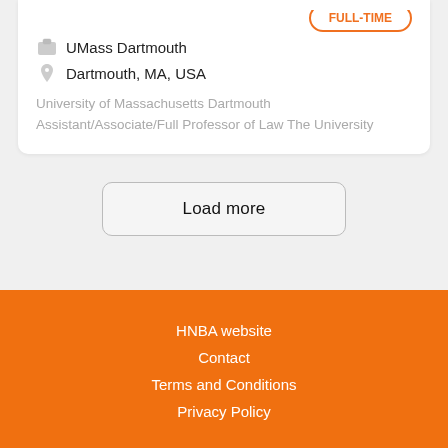UMass Dartmouth
Dartmouth, MA, USA
University of Massachusetts Dartmouth
Assistant/Associate/Full Professor of Law The University
Load more
HNBA website
Contact
Terms and Conditions
Privacy Policy